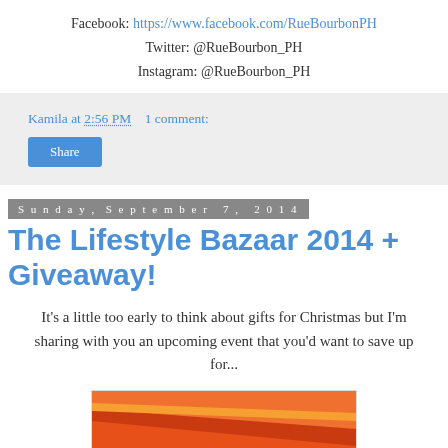Facebook: https://www.facebook.com/RueBourbonPH
Twitter: @RueBourbon_PH
Instagram: @RueBourbon_PH
Kamila at 2:56 PM    1 comment:
Share
Sunday, September 7, 2014
The Lifestyle Bazaar 2014 + Giveaway!
It's a little too early to think about gifts for Christmas but I'm sharing with you an upcoming event that you'd want to save up for...
[Figure (photo): Colorful promotional graphic for The Lifestyle Bazaar event with orange, red, and purple diagonal stripes and the text 'THE' visible at the bottom]